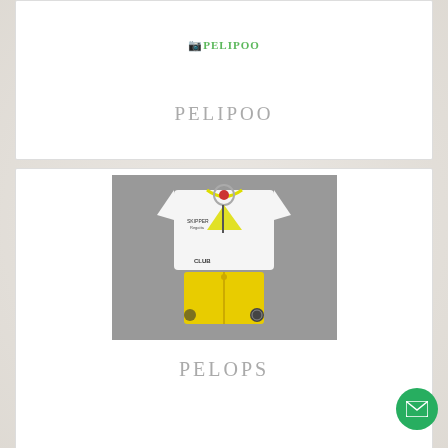[Figure (logo): PELIPOO text logo in green]
PELIPOO
[Figure (photo): Children's clothing set: white t-shirt with sailing/club graphic print and yellow shorts, displayed on grey background]
PELOPS
[Figure (photo): Partial view of another product image at bottom of page, brown/tan colored item]